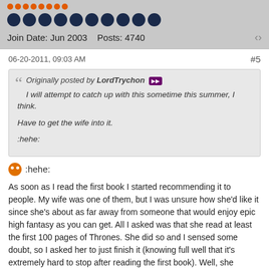[Figure (other): Orange dot row (user rank pips) and blue dot row (reputation circles), plus Join Date and Posts info with share icon]
Join Date: Jun 2003   Posts: 4740
06-20-2011, 09:03 AM   #5
Originally posted by LordTrychon [forward icon] I will attempt to catch up with this sometime this summer, I think.

Have to get the wife into it.

:hehe:
:hehe:
As soon as I read the first book I started recommending it to people. My wife was one of them, but I was unsure how she'd like it since she's about as far away from someone that would enjoy epic high fantasy as you can get. All I asked was that she read at least the first 100 pages of Thrones. She did so and I sensed some doubt, so I asked her to just finish it (knowing full well that it's extremely hard to stop after reading the first book). Well, she devoured the rest of it, and the next 3 books, and is now eagerly anticipating the release of book 5. She was extremely pleased - almost in a state of disbelief that she liked them as much as she did. Honestly, I think it was the plight of the children and